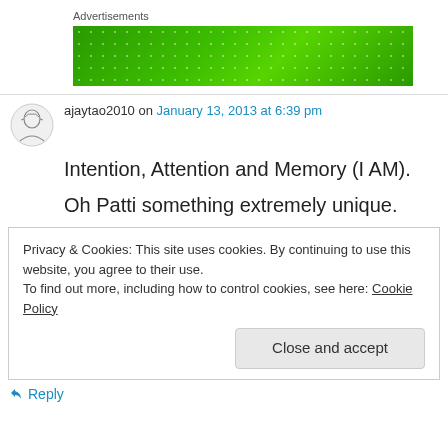Advertisements
[Figure (other): Green advertisement banner with light dot pattern]
ajaytao2010 on January 13, 2013 at 6:39 pm
Intention, Attention and Memory (I AM).

Oh Patti something extremely unique.
Privacy & Cookies: This site uses cookies. By continuing to use this website, you agree to their use.
To find out more, including how to control cookies, see here: Cookie Policy
Close and accept
Reply